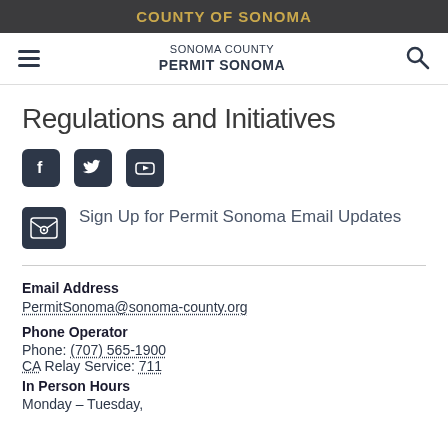COUNTY OF SONOMA
SONOMA COUNTY PERMIT SONOMA
Regulations and Initiatives
[Figure (infographic): Social media icons: Facebook, Twitter, YouTube]
Sign Up for Permit Sonoma Email Updates
Email Address
PermitSonoma@sonoma-county.org
Phone Operator
Phone: (707) 565-1900
CA Relay Service: 711
In Person Hours
Monday – Tuesday,